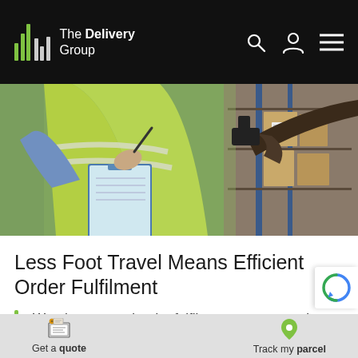The Delivery Group
[Figure (photo): Warehouse worker in high-visibility vest holding a clipboard, with another person reaching for a box on a shelving unit with barcode labels.]
Less Foot Travel Means Efficient Order Fulfilment
Warehouses and order fulfilment centres can be very large spaces, and
Get a quote   Track my parcel